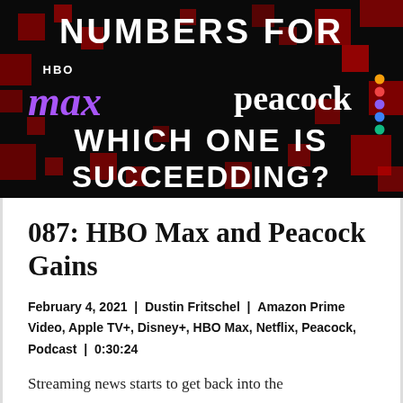[Figure (photo): Hero banner image with dark red/black grid background. Text reads 'NUMBERS FOR' at top, then HBO Max logo on left and Peacock logo on right, then 'WHICH ONE IS SUCCEEDDING?' at bottom. All text in white bold Impact font.]
087: HBO Max and Peacock Gains
February 4, 2021 | Dustin Fritschel | Amazon Prime Video, Apple TV+, Disney+, HBO Max, Netflix, Peacock, Podcast | 0:30:24
Streaming news starts to get back into the